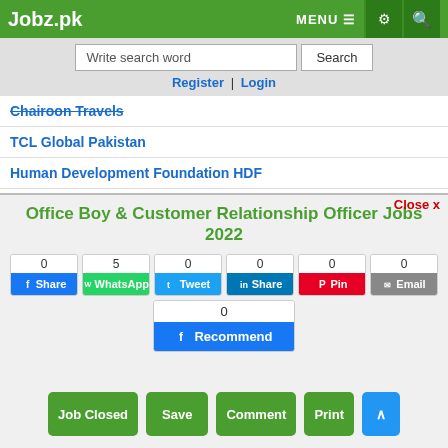Jobz.pk
Write search word | Search | Register | Login
Chairoon Travels
TCL Global Pakistan
Human Development Foundation HDF
Yashfeen Education System YES
Razmak Industries
The Citizens Foundation
National Rural Support Programme NRSP
Management & Development Foundation MDF
Office Boy & Customer Relationship Officer Jobs 2022
Share buttons: Facebook 0, WhatsApp 5, Tweet 0, LinkedIn Share 0, Pinterest Pin 0, Email 0, Facebook Recommend 0
Job Closed | Save | Comment | Print | Scroll to top